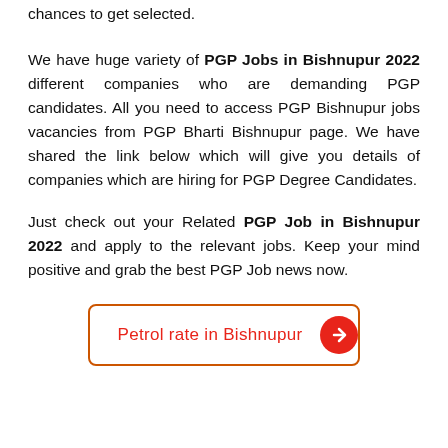chances to get selected.
We have huge variety of PGP Jobs in Bishnupur 2022 different companies who are demanding PGP candidates. All you need to access PGP Bishnupur jobs vacancies from PGP Bharti Bishnupur page. We have shared the link below which will give you details of companies which are hiring for PGP Degree Candidates.
Just check out your Related PGP Job in Bishnupur 2022 and apply to the relevant jobs. Keep your mind positive and grab the best PGP Job news now.
[Figure (other): Call-to-action button with orange border and red text reading 'Petrol rate in Bishnupur' with a red circular arrow button on the right]